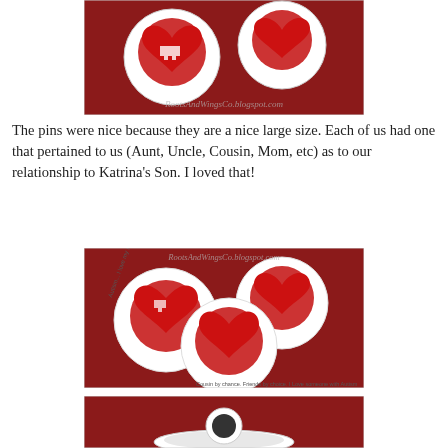[Figure (photo): Two circular autism awareness pins with red heart and puzzle piece design on dark red background, watermark reads RootsAndWingsCo.blogspot.com]
The pins were nice because they are a nice large size. Each of us had one that pertained to us (Aunt, Uncle, Cousin, Mom, etc) as to our relationship to Katrina's Son. I loved that!
[Figure (photo): Three circular autism awareness pins arranged in a cluster on dark red background. Pins read 'I love my nephew', 'Cousin by chance, Friends by choice, I Love someone with Autism', and another similar pin. Watermark reads RootsAndWingsCo.blogspot.com]
[Figure (photo): Back of a circular pin showing white plastic pin back mechanism on dark red background — partial view cropped at bottom]